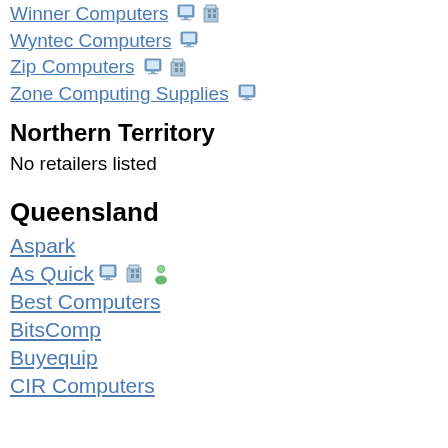Winner Computers
Wyntec Computers
Zip Computers
Zone Computing Supplies
Northern Territory
No retailers listed
Queensland
Aspark
As Quick
Best Computers
BitsComp
Buyequip
CIR Computers